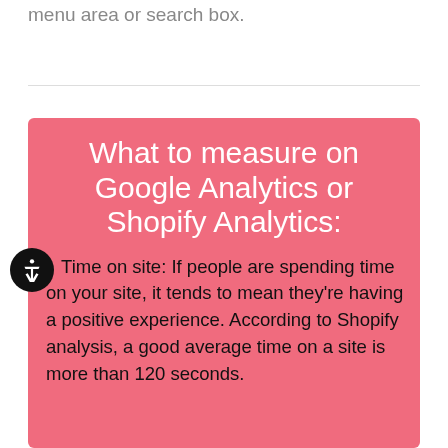menu area or search box.
What to measure on Google Analytics or Shopify Analytics:
Time on site: If people are spending time on your site, it tends to mean they're having a positive experience. According to Shopify analysis, a good average time on a site is more than 120 seconds.